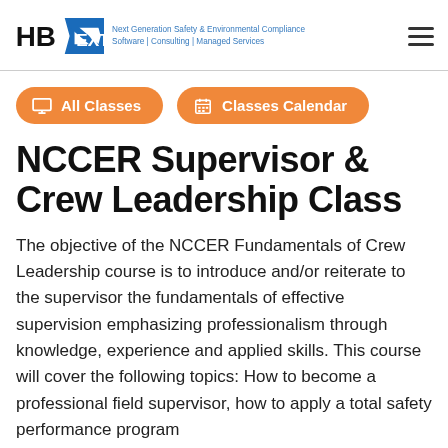[Figure (logo): HB NEXT logo with blue arrow/chevron shapes forming the N, with tagline 'Next Generation Safety & Environmental Compliance Software | Consulting | Managed Services']
[Figure (other): Hamburger menu icon — three horizontal lines]
[Figure (other): Two orange pill-shaped buttons: 'All Classes' with monitor icon, and 'Classes Calendar' with calendar icon]
NCCER Supervisor & Crew Leadership Class
The objective of the NCCER Fundamentals of Crew Leadership course is to introduce and/or reiterate to the supervisor the fundamentals of effective supervision emphasizing professionalism through knowledge, experience and applied skills. This course will cover the following topics: How to become a professional field supervisor, how to apply a total safety performance program